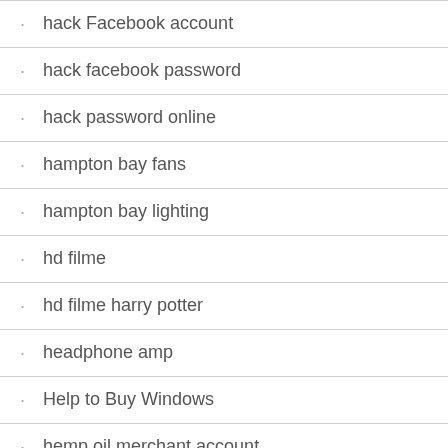hack Facebook account
hack facebook password
hack password online
hampton bay fans
hampton bay lighting
hd filme
hd filme harry potter
headphone amp
Help to Buy Windows
hemp oil merchant account
hip-hop
Home Renovation